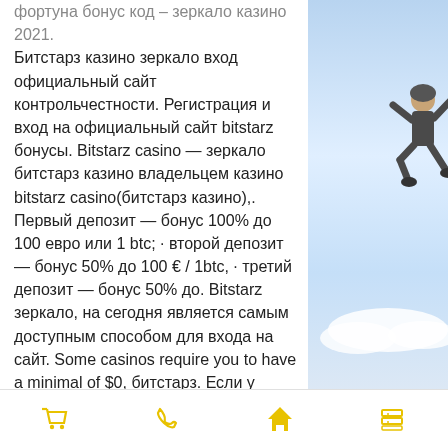фортуна бонус код – зеркало казино 2021. Битстарз казино зеркало вход официальный сайт контрольчестности. Регистрация и вход на официальный сайт bitstarz бонусы. Bitstarz casino — зеркало битстарз казино владельцем казино bitstarz casino(битстарз казино),. Первый депозит — бонус 100% до 100 евро или 1 btc; · второй депозит — бонус 50% до 100 € / 1btc, · третий депозит — бонус 50% до. Bitstarz зеркало, на сегодня является самым доступным способом для входа на сайт. Some casinos require you to have a minimal of $0, битстарз. Если у пользователя возникают какие либо трудности в процессе входа на сайт казино, то нужно искать актуальное зеркало битстарз казино. Зеркало – это точная. Bitstarz casino зеркало– это копия основного сайта. которая была создана
[Figure (illustration): Skydiver figure falling against a blue sky background with white clouds at the bottom]
Shopping cart icon | Phone icon | Home icon | Menu icon